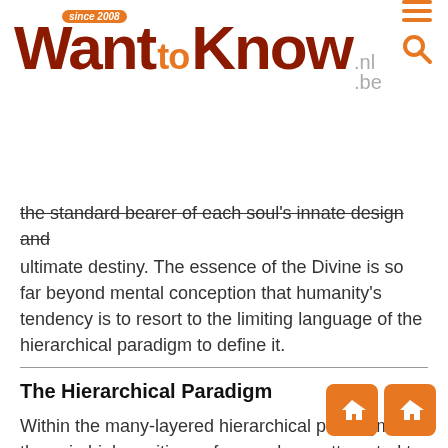WantToKnow.nl.be — since 2008
the standard bearer of each soul's innate design and ultimate destiny. The essence of the Divine is so far beyond mental conception that humanity's tendency is to resort to the limiting language of the hierarchical paradigm to define it.
The Hierarchical Paradigm
Within the many-layered hierarchical paradigm, those in high positions of power have attempted to guide the development of all humankind. In so doing, they have subtly obscured the direct connection between the individual and the Divine through layers of limiting language, belief system manipulation, and confining rituals designed to integrate but to serve one...